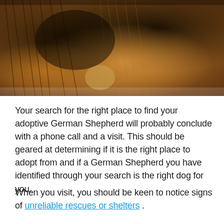[Figure (photo): Close-up photo of a German Shepherd dog, showing its black and tan fur coat. The dog appears to be lying down or resting, with fur details prominent in the frame. Background shows a blurred outdoor setting.]
Your search for the right place to find your adoptive German Shepherd will probably conclude with a phone call and a visit. This should be geared at determining if it is the right place to adopt from and if a German Shepherd you have identified through your search is the right dog for you.
When you visit, you should be keen to notice signs of unreliable rescues or shelters .